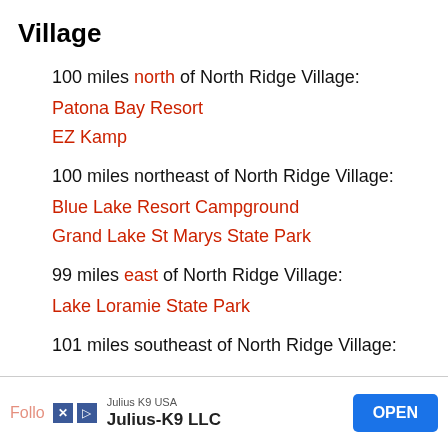Village
100 miles north of North Ridge Village:
Patona Bay Resort
EZ Kamp
100 miles northeast of North Ridge Village:
Blue Lake Resort Campground
Grand Lake St Marys State Park
99 miles east of North Ridge Village:
Lake Loramie State Park
101 miles southeast of North Ridge Village:
Julius K9 USA · Julius-K9 LLC · OPEN